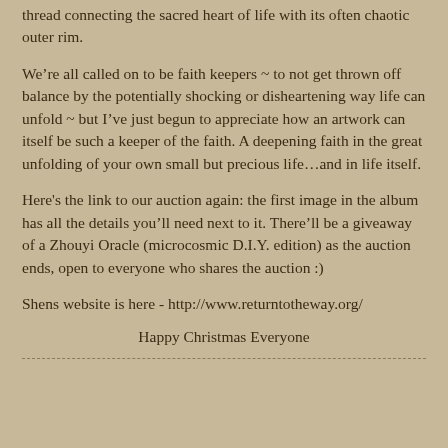thread connecting the sacred heart of life with its often chaotic outer rim.
We’re all called on to be faith keepers ~ to not get thrown off balance by the potentially shocking or disheartening way life can unfold ~ but I’ve just begun to appreciate how an artwork can itself be such a keeper of the faith. A deepening faith in the great unfolding of your own small but precious life…and in life itself.
Here's the link to our auction again: the first image in the album has all the details you’ll need next to it. There’ll be a giveaway of a Zhouyi Oracle (microcosmic D.I.Y. edition) as the auction ends, open to everyone who shares the auction :)
Shens website is here - http://www.returntotheway.org/
Happy Christmas Everyone